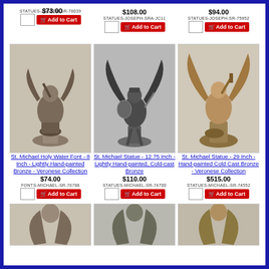Collection
$73.00
STATUES-JOSEPH-SR-76039
$108.00
STATUES-JOSEPH-SRA-JC11
$94.00
STATUES-JOSEPH-SR-75952
[Figure (photo): St. Michael Holy Water Font - 8 Inch - Lightly Hand-painted Bronze - Veronese Collection bronze statue]
[Figure (photo): St. Michael Statue - 12.75 Inch - Lightly Hand-painted, Cold-cast Bronze statue]
[Figure (photo): St. Michael Statue - 29 Inch - Hand-painted Cold Cast Bronze - Veronese Collection statue]
St. Michael Holy Water Font - 8 Inch - Lightly Hand-painted Bronze - Veronese Collection
$74.00
FONTS-MICHAEL-SR-76788
St. Michael Statue - 12.75 Inch - Lightly Hand-painted, Cold-cast Bronze
$110.00
STATUES-MICHAEL-SR-74700
St. Michael Statue - 29 Inch - Hand-painted Cold Cast Bronze - Veronese Collection
$515.00
STATUES-MICHAEL-SR-74552
[Figure (photo): Partial view of bronze angel statue bottom row left]
[Figure (photo): Partial view of bronze angel statue bottom row center]
[Figure (photo): Partial view of bronze angel statue bottom row right]